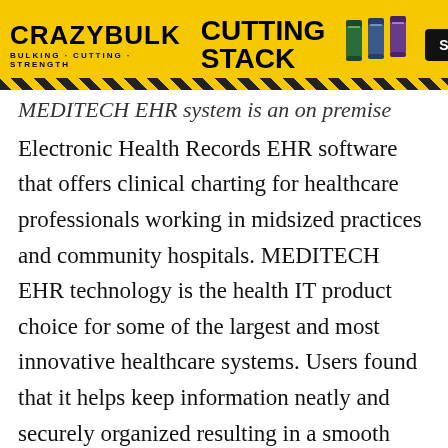[Figure (other): CrazyBulk Cutting Stack advertisement banner with yellow background, product bottles, and SHOP NOW button]
MEDITECH EHR system is an on premise Electronic Health Records EHR software that offers clinical charting for healthcare professionals working in midsized practices and community hospitals. MEDITECH EHR technology is the health IT product choice for some of the largest and most innovative healthcare systems. Users found that it helps keep information neatly and securely organized resulting in a smooth user experience.
Whereas Meditech EMR provides Document Management Time Tracking Appointment